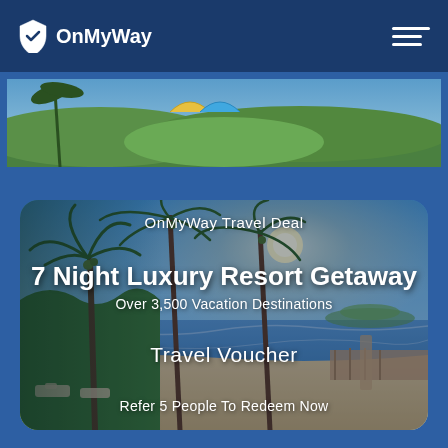OnMyWay
[Figure (screenshot): Partial tropical resort image visible at top of page below navigation bar]
[Figure (illustration): Travel deal card with tropical resort background showing palm trees, beach, and ocean. Contains text: OnMyWay Travel Deal, 7 Night Luxury Resort Getaway, Over 3,500 Vacation Destinations, Travel Voucher, Refer 5 People To Redeem Now]